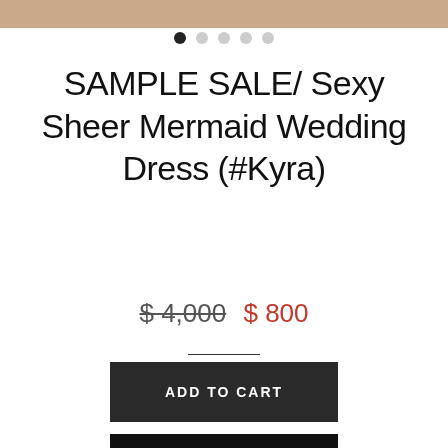[Figure (photo): Partial view of a wedding dress photo at the top of the page]
SAMPLE SALE/ Sexy Sheer Mermaid Wedding Dress (#Kyra)
$ 4,000  $ 800
ADD TO CART
MEASURE